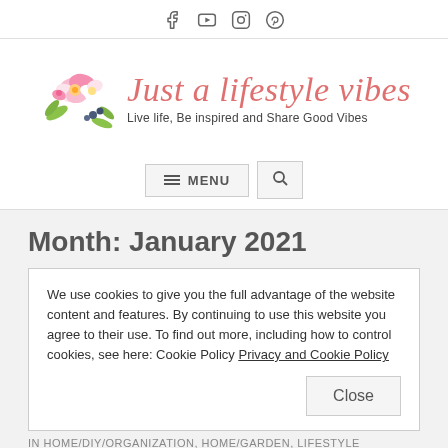Social icons: Facebook, YouTube, Instagram, Pinterest
[Figure (logo): Just a lifestyle vibes blog logo with flower illustration and text 'Live life, Be inspired and Share Good Vibes']
MENU (navigation bar with search)
Month: January 2021
We use cookies to give you the full advantage of the website content and features. By continuing to use this website you agree to their use. To find out more, including how to control cookies, see here: Cookie Policy Privacy and Cookie Policy
IN HOME/DIY/ORGANIZATION, HOME/GARDEN, LIFESTYLE